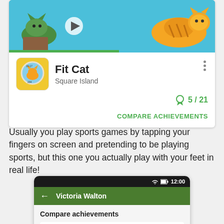[Figure (screenshot): Google Play Store listing for 'Fit Cat' app by Square Island showing game banner with cats, app icon, developer name, achievement count 5/21, and COMPARE ACHIEVEMENTS button]
Usually you play sports games by tapping your fingers on screen and pretending to be playing sports, but this one you actually play with your feet in real life!
[Figure (screenshot): Android phone screenshot showing 'Victoria Walton' screen with Compare achievements section listing 'Sleepy Cat' achievement with description 'This is how Fit Cat starts the day.' and 500 XP]